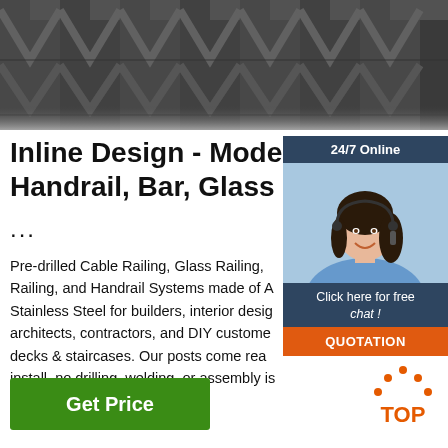[Figure (photo): Close-up photo of stacked dark steel angle iron bars arranged in a herringbone pattern]
Inline Design - Modern Handrail, Bar, Glass & ...
...
Pre-drilled Cable Railing, Glass Railing, Railing, and Handrail Systems made of A Stainless Steel for builders, interior design architects, contractors, and DIY customers decks & staircases. Our posts come rea install, no drilling, welding, or assembly is required.
[Figure (infographic): 24/7 Online chat widget showing a female customer service agent with headset, 'Click here for free chat!' text, and QUOTATION button]
[Figure (logo): TOP logo with orange dots arranged in an arc above the letters TOP in orange]
Get Price